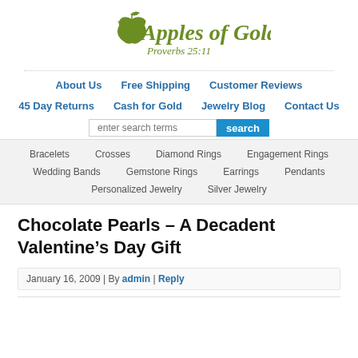[Figure (logo): Apples of Gold logo with apple icon, italic text 'Apples of Gold' and subtitle 'Proverbs 25:11' in olive/green color]
About Us | Free Shipping | Customer Reviews | 45 Day Returns | Cash for Gold | Jewelry Blog | Contact Us
[Figure (other): Search bar with text input 'enter search terms' and blue 'search' button]
Bracelets | Crosses | Diamond Rings | Engagement Rings | Wedding Bands | Gemstone Rings | Earrings | Pendants | Personalized Jewelry | Silver Jewelry
Chocolate Pearls – A Decadent Valentine’s Day Gift
January 16, 2009 | By admin | Reply